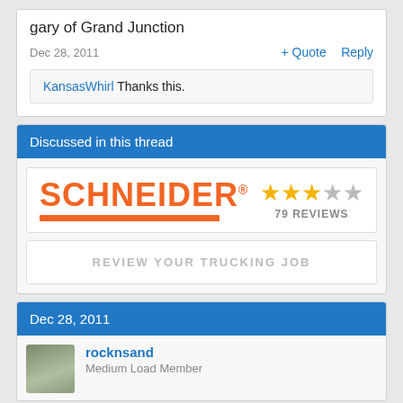gary of Grand Junction
Dec 28, 2011
+ Quote  Reply
KansasWhirl Thanks this.
Discussed in this thread
[Figure (logo): Schneider logo in orange with horizontal bar beneath, showing 3 out of 5 stars (79 REVIEWS)]
REVIEW YOUR TRUCKING JOB
Dec 28, 2011
rocknsand
Medium Load Member